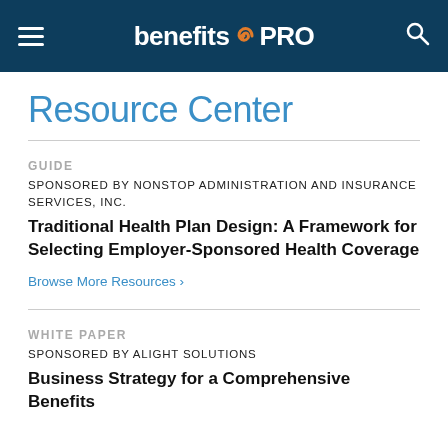benefitsPRO
Resource Center
GUIDE
SPONSORED BY NONSTOP ADMINISTRATION AND INSURANCE SERVICES, INC.
Traditional Health Plan Design: A Framework for Selecting Employer-Sponsored Health Coverage
Browse More Resources ›
WHITE PAPER
SPONSORED BY ALIGHT SOLUTIONS
Business Strategy for a Comprehensive Benefits